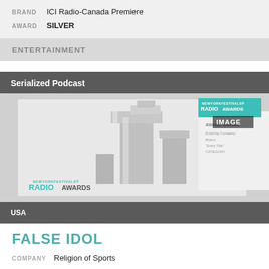BRAND  ICI Radio-Canada Premiere
AWARD  SILVER
ENTERTAINMENT
Serialized Podcast
[Figure (photo): New York Festivals Radio Awards trophy and award winner certificate on white background, with teal RADIO AWARDS badge overlay and IMAGE label]
USA
FALSE IDOL
COMPANY  Religion of Sports